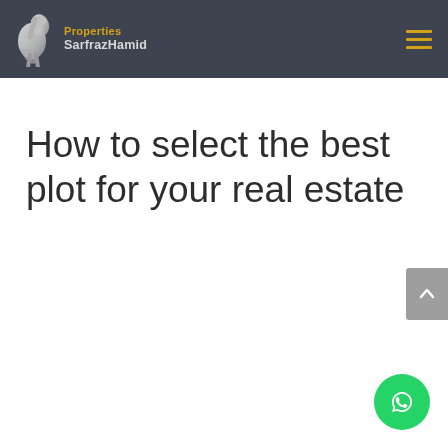Properties SarfrazHamid
How to select the best plot for your real estate